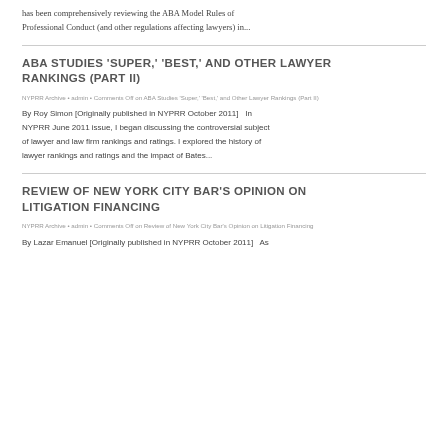has been comprehensively reviewing the ABA Model Rules of Professional Conduct (and other regulations affecting lawyers) in...
ABA STUDIES 'SUPER,' 'BEST,' AND OTHER LAWYER RANKINGS (PART II)
NYPRR Archive • admin • Comments Off on ABA Studies 'Super,' 'Best,' and Other Lawyer Rankings (Part II)
By Roy Simon [Originally published in NYPRR October 2011]   In NYPRR June 2011 issue, I began discussing the controversial subject of lawyer and law firm rankings and ratings. I explored the history of lawyer rankings and ratings and the impact of Bates...
REVIEW OF NEW YORK CITY BAR'S OPINION ON LITIGATION FINANCING
NYPRR Archive • admin • Comments Off on Review of New York City Bar's Opinion on Litigation Financing
By Lazar Emanuel [Originally published in NYPRR October 2011]   As